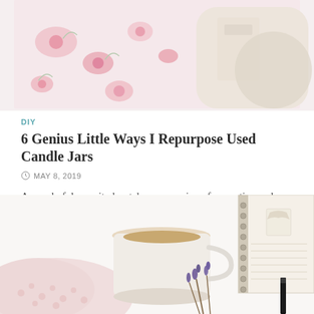[Figure (photo): Pink floral notebook or fabric with flowers on a light background, top portion visible]
DIY
6 Genius Little Ways I Repurpose Used Candle Jars
MAY 8, 2019
A wonderful serenity has taken possession of my entire soul, like these sweet mornings of spring which I enjoy with ...
[Figure (photo): Flat lay of a coffee mug with latte, lavender sprigs, a pink knitted piece, and a spiral notebook with pen on white background]